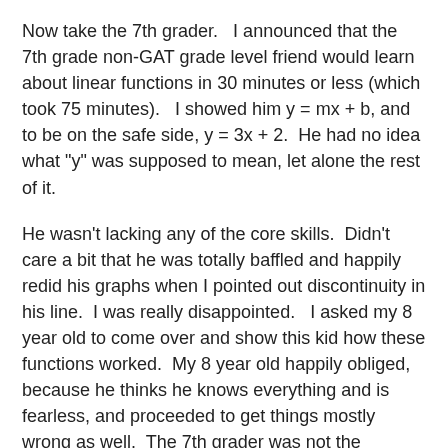Now take the 7th grader.   I announced that the 7th grade non-GAT grade level friend would learn about linear functions in 30 minutes or less (which took 75 minutes).   I showed him y = mx + b, and to be on the safe side, y = 3x + 2.  He had no idea what "y" was supposed to mean, let alone the rest of it.
He wasn't lacking any of the core skills.  Didn't care a bit that he was totally baffled and happily redid his graphs when I pointed out discontinuity in his line.  I was really disappointed.   I asked my 8 year old to come over and show this kid how these functions worked.  My 8 year old happily obliged, because he thinks he knows everything and is fearless, and proceeded to get things mostly wrong as well.  The 7th grader was not the slightest bit annoyed.  I was hoping for tears.  I need more time to prepare.  I told him to come back next week and I won't be as easy.  I'm going to give my 8 year old all of the answers first, and I'll jump right into exponents in the middle of the lesson for no reason.
A few days later, my 6th grader and I walked to this friend's